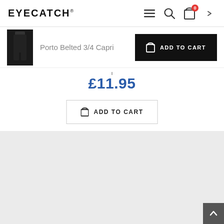EYECATCH®
Porto Belted 3/4 Capri
ADD TO CART
£11.95
ADD TO CART
[Figure (photo): Large light grey product image display area for Porto Belted 3/4 Capri]